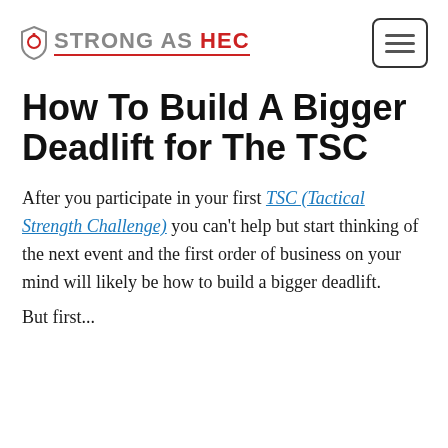STRONG AS HEC
How To Build A Bigger Deadlift for The TSC
After you participate in your first TSC (Tactical Strength Challenge) you can't help but start thinking of the next event and the first order of business on your mind will likely be how to build a bigger deadlift.
But first...